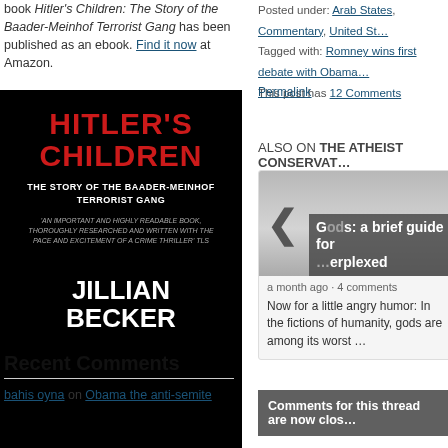book Hitler's Children: The Story of the Baader-Meinhof Terrorist Gang has been published as an ebook. Find it now at Amazon.
[Figure (photo): Book cover: Hitler's Children: The Story of the Baader-Meinhof Terrorist Gang by Jillian Becker. Black background with red and white text.]
Recent Comments
bahis oyna on Obama the anti-semite
Posted under: Arab States, Commentary, United St...
Tagged with: Romney wins first debate with Obama...
This post has 12 Comments
Permalink
ALSO ON THE ATHEIST CONSERVAT...
[Figure (screenshot): Card with image showing a carousel arrow and overlay text: Gods: a brief guide for the perplexed]
a month ago · 4 comments
Now for a little angry humor: In the fictions of humanity, gods are among its worst …
Comments for this thread are now clos...